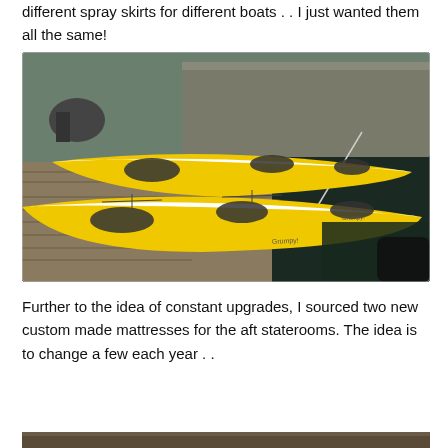different spray skirts for different boats . .  I just wanted them all the same!
[Figure (photo): Two yellow and white sea kayaks resting on a wooden dock at a marina, with water and a barge in the background.]
Further to the idea of constant upgrades, I sourced two new custom made mattresses for the aft staterooms. The idea is to change a few each year . .
[Figure (photo): Partial view of another photo at the bottom of the page (cropped).]